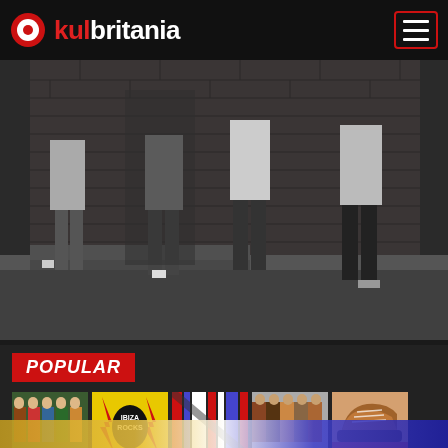kulbritania
[Figure (photo): Black and white photo of a group of young men holding sneakers, standing in front of a brick wall]
POPULAR
[Figure (photo): Thumbnail 1: Group of men in colourful jackets outdoors]
[Figure (photo): Thumbnail 2: Ibiza Rocks logo with lightning bolts on yellow background]
[Figure (photo): Thumbnail 3: Close-up of striped fabric or clothing]
[Figure (photo): Thumbnail 4: Group of men posing together]
[Figure (photo): Thumbnail 5: Brown suede sneaker on a surface]